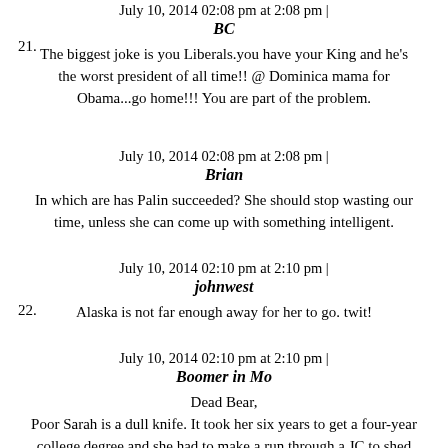July 10, 2014 02:08 pm at 2:08 pm |
BC
The biggest joke is you Liberals.you have your King and he's the worst president of all time!! @ Dominica mama for Obama...go home!!! You are part of the problem.
July 10, 2014 02:08 pm at 2:08 pm |
Brian
In which are has Palin succeeded? She should stop wasting our time, unless she can come up with something intelligent.
July 10, 2014 02:10 pm at 2:10 pm |
johnwest
Alaska is not far enough away for her to go. twit!
July 10, 2014 02:10 pm at 2:10 pm |
Boomer in Mo
Dead Bear,
Poor Sarah is a dull knife. It took her six years to get a four-year college degree and she had to make a run through a JC to shed the upper level courses she failed from her transcript.
She never met an honest fact she wanted to know.